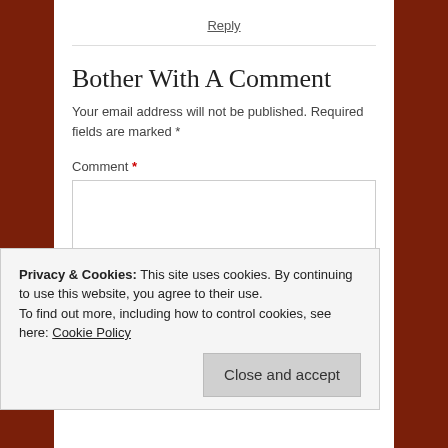Reply
Bother With A Comment
Your email address will not be published. Required fields are marked *
Comment *
Privacy & Cookies: This site uses cookies. By continuing to use this website, you agree to their use.
To find out more, including how to control cookies, see here: Cookie Policy
Close and accept